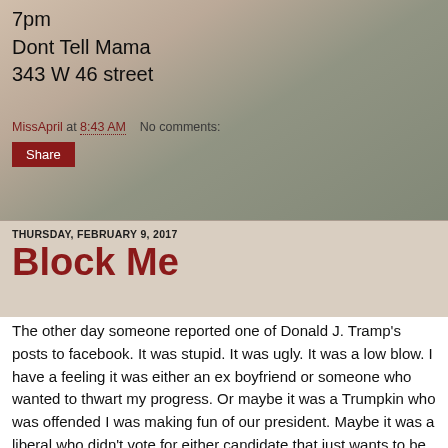7pm
Dont Tell Mama
343 W 46 street
MissApril at 8:43 AM    No comments:
Share
THURSDAY, FEBRUARY 9, 2017
Block Me
The other day someone reported one of Donald J. Tramp's posts to facebook. It was stupid. It was ugly. It was a low blow. I have a feeling it was either an ex boyfriend or someone who wanted to thwart my progress. Or maybe it was a Trumpkin who was offended I was making fun of our president. Maybe it was a liberal who didn't vote for either candidate that just wants to be offended by everything.
Either way, the whole thing was stupid. It pissed me off. I had